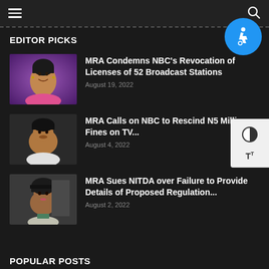EDITOR PICKS
MRA Condemns NBC's Revocation of Licenses of 52 Broadcast Stations — August 19, 2022
MRA Calls on NBC to Rescind N5 Million Fines on TV... — August 4, 2022
MRA Sues NITDA over Failure to Provide Details of Proposed Regulation... — August 2, 2022
POPULAR POSTS